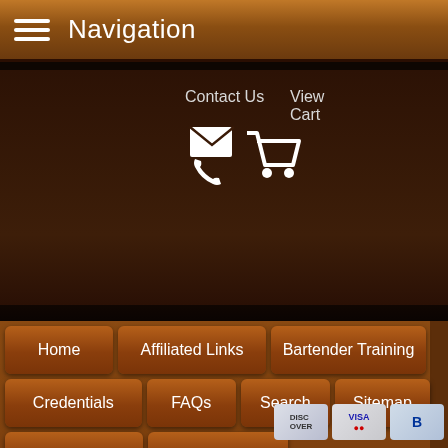Navigation
Contact Us
View Cart
Home
Affiliated Links
Bartender Training
Credentials
FAQs
Search
Sitemap
Contact Us
Enroll Now